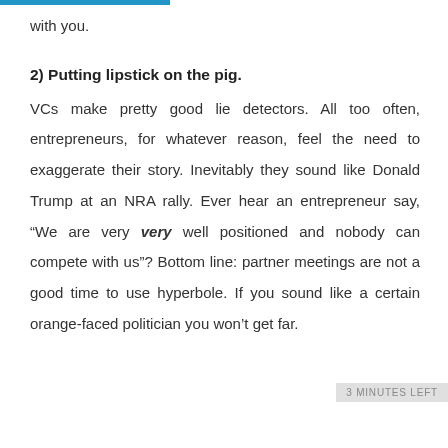with you.
2) Putting lipstick on the pig.
VCs make pretty good lie detectors. All too often, entrepreneurs, for whatever reason, feel the need to exaggerate their story. Inevitably they sound like Donald Trump at an NRA rally. Ever hear an entrepreneur say, “We are very very well positioned and nobody can compete with us”? Bottom line: partner meetings are not a good time to use hyperbole. If you sound like a certain orange-faced politician you won’t get far.